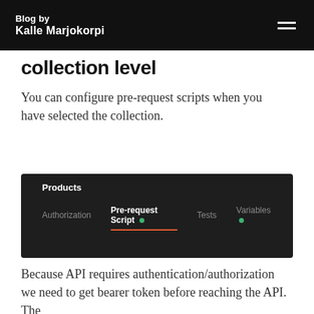Blog by Kalle Marjokorpi
collection level
You can configure pre-request scripts when you have selected the collection.
[Figure (screenshot): Dark-themed Postman UI showing a collection named 'Products' with tabs: Authorization, Pre-request Script (active, with green dot and orange underline), Tests, Variables (with green dot).]
Because API requires authentication/authorization we need to get bearer token before reaching the API. The